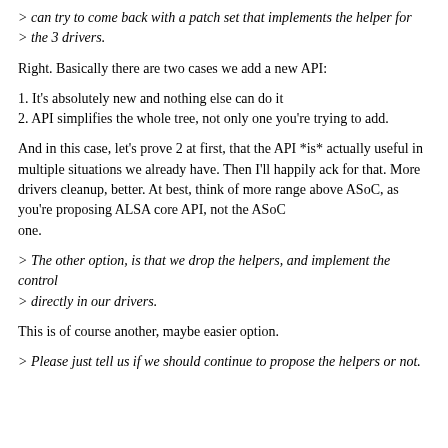> can try to come back with a patch set that implements the helper for
> the 3 drivers.
Right. Basically there are two cases we add a new API:
1. It's absolutely new and nothing else can do it
2. API simplifies the whole tree, not only one you're trying to add.
And in this case, let's prove 2 at first, that the API *is* actually useful in multiple situations we already have. Then I'll happily ack for that. More drivers cleanup, better. At best, think of more range above ASoC, as you're proposing ALSA core API, not the ASoC one.
> The other option, is that we drop the helpers, and implement the control
> directly in our drivers.
This is of course another, maybe easier option.
> Please just tell us if we should continue to propose the helpers or not.